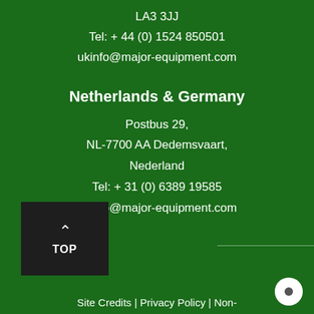LA3 3JJ
Tel: + 44 (0) 1524 850501
ukinfo@major-equipment.com
Netherlands & Germany
Postbus 29,
NL-7700 AA Dedemsvaart,
Nederland
Tel: + 31 (0) 6389 19585
euinfo@major-equipment.com
Site Credits | Privacy Policy | Non-